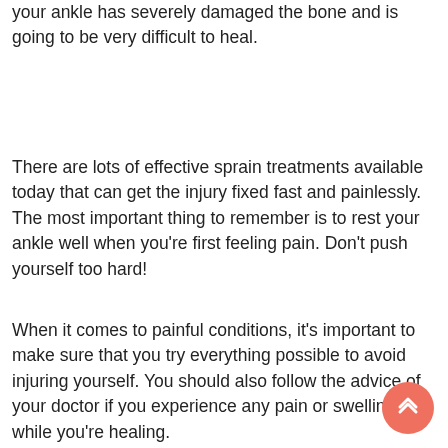your ankle has severely damaged the bone and is going to be very difficult to heal.
There are lots of effective sprain treatments available today that can get the injury fixed fast and painlessly. The most important thing to remember is to rest your ankle well when you're first feeling pain. Don't push yourself too hard!
When it comes to painful conditions, it's important to make sure that you try everything possible to avoid injuring yourself. You should also follow the advice of your doctor if you experience any pain or swelling while you're healing.